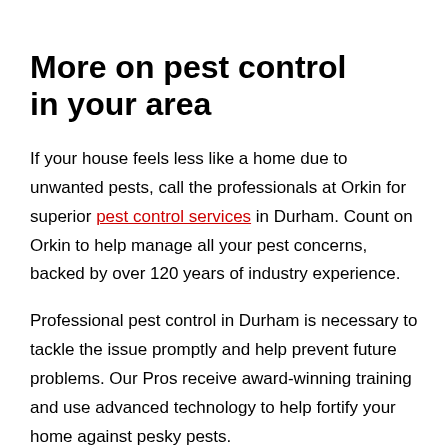More on pest control in your area
If your house feels less like a home due to unwanted pests, call the professionals at Orkin for superior pest control services in Durham. Count on Orkin to help manage all your pest concerns, backed by over 120 years of industry experience.
Professional pest control in Durham is necessary to tackle the issue promptly and help prevent future problems. Our Pros receive award-winning training and use advanced technology to help fortify your home against pesky pests.